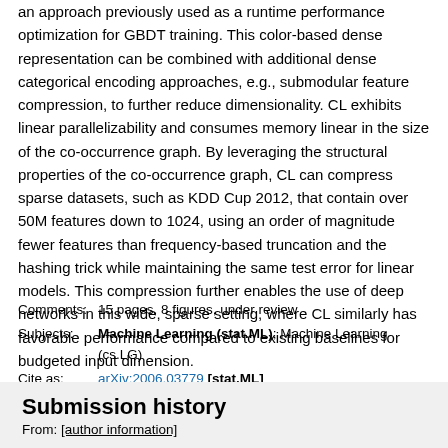an approach previously used as a runtime performance optimization for GBDT training. This color-based dense representation can be combined with additional dense categorical encoding approaches, e.g., submodular feature compression, to further reduce dimensionality. CL exhibits linear parallelizability and consumes memory linear in the size of the co-occurrence graph. By leveraging the structural properties of the co-occurrence graph, CL can compress sparse datasets, such as KDD Cup 2012, that contain over 50M features down to 1024, using an order of magnitude fewer features than frequency-based truncation and the hashing trick while maintaining the same test error for linear models. This compression further enables the use of deep networks in this wide, sparse setting, where CL similarly has favorable performance compared to existing baselines for budgeted input dimension.
| Comments: | 15 pages, 8 figures, under review |
| Subjects: | Machine Learning (stat.ML); Machine Learning (cs.LG) |
| Cite as: | arXiv:2006.03779 [stat.ML]
(or arXiv:2006.03779v1 [stat.ML] for this version)
https://doi.org/10.48550/arXiv.2006.03779 |
Submission history
From: [author information]